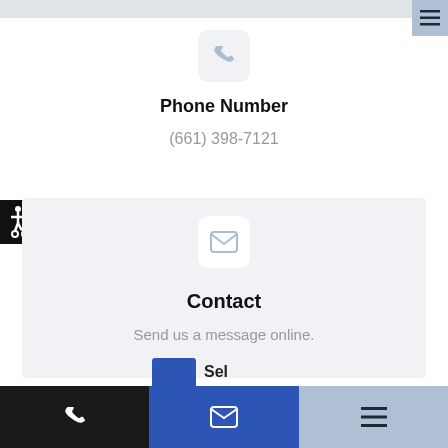[Figure (screenshot): Top gray navigation bar with hamburger menu button in top right corner (blue-gray background with three horizontal lines).]
[Figure (illustration): Phone icon in a light gray rounded square box.]
Phone Number
(661) 398-7121
[Figure (illustration): Accessibility icon (wheelchair user) in black square on left edge.]
[Figure (illustration): Envelope/mail icon in a white rounded square box on light gray background.]
Contact
Send us a message online.
[Figure (screenshot): Bottom navigation bar with three sections: dark/black phone icon on left, blue email icon in center, light blue hamburger menu on right. Partial blue box and text visible above bottom bar.]